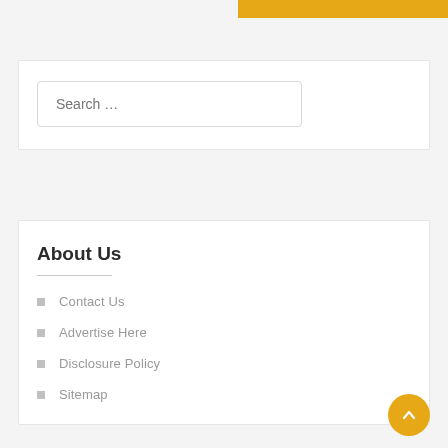Search …
About Us
Contact Us
Advertise Here
Disclosure Policy
Sitemap